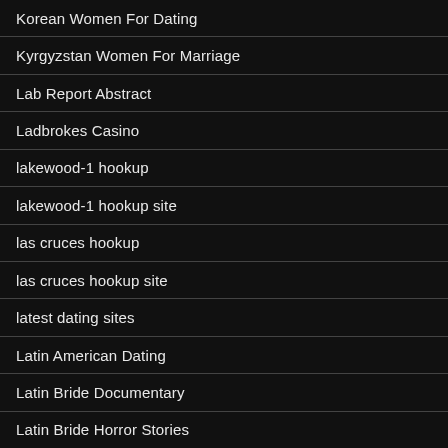Korean Women For Dating
Kyrgyzstan Women For Marriage
Lab Report Abstract
Ladbrokes Casino
lakewood-1 hookup
lakewood-1 hookup site
las cruces hookup
las cruces hookup site
latest dating sites
Latin American Dating
Latin Bride Documentary
Latin Bride Horror Stories